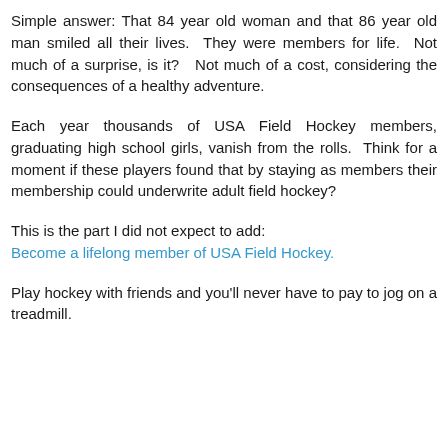Simple answer: That 84 year old woman and that 86 year old man smiled all their lives.  They were members for life.  Not much of a surprise, is it?   Not much of a cost, considering the consequences of a healthy adventure.
Each year thousands of USA Field Hockey members, graduating high school girls, vanish from the rolls.  Think for a moment if these players found that by staying as members their membership could underwrite adult field hockey?
This is the part I did not expect to add:
Become a lifelong member of USA Field Hockey.
Play hockey with friends and you'll never have to pay to jog on a treadmill.